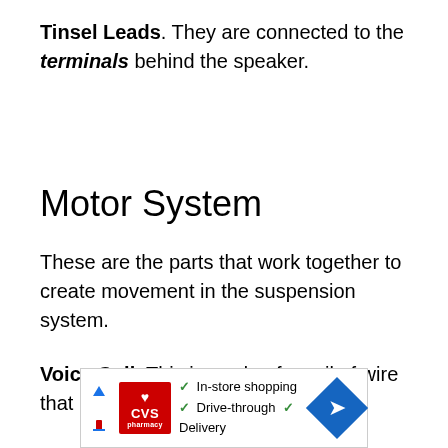Tinsel Leads. They are connected to the terminals behind the speaker.
Motor System
These are the parts that work together to create movement in the suspension system.
Voice Coil. This is made of a coil of wire that is wound round a cylinder
[Figure (other): CVS pharmacy advertisement banner showing in-store shopping, drive-through, and delivery options with CVS logo and navigation icon]